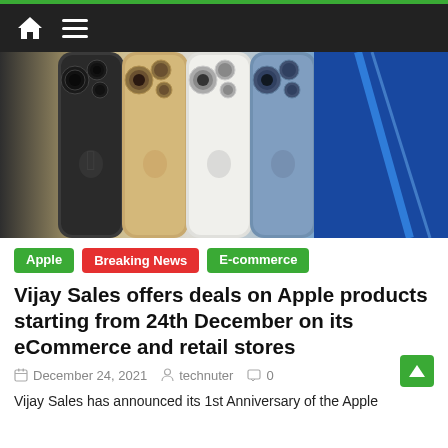Navigation bar with home and menu icons
[Figure (photo): Five iPhone 13 Pro models displayed side by side showing different colors: graphite, gold, silver, sierra blue, and blue, with Apple logos visible on their backs and triple camera systems at the top.]
Apple  Breaking News  E-commerce
Vijay Sales offers deals on Apple products starting from 24th December on its eCommerce and retail stores
December 24, 2021  technuter  0
Vijay Sales has announced its 1st Anniversary of the Apple